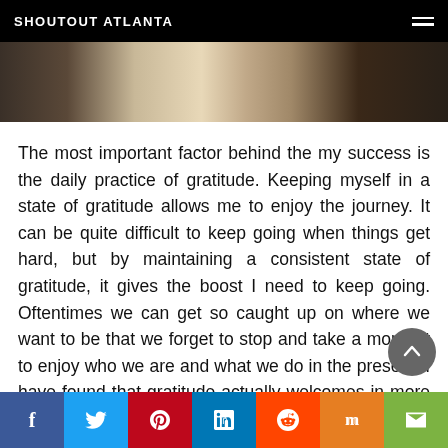SHOUTOUT ATLANTA
[Figure (photo): Partial photo of a person wearing a plaid outfit, cropped at the top of the page below the navigation bar.]
The most important factor behind the my success is the daily practice of gratitude. Keeping myself in a state of gratitude allows me to enjoy the journey. It can be quite difficult to keep going when things get hard, but by maintaining a consistent state of gratitude, it gives the boost I need to keep going. Oftentimes we can get so caught up on where we want to be that we forget to stop and take a moment to enjoy who we are and what we do in the present. I have found that gratitude actually welcomes in more opportunities, creativity, and